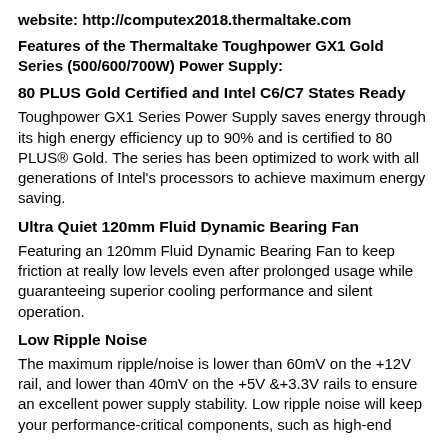website: http://computex2018.thermaltake.com
Features of the Thermaltake Toughpower GX1 Gold Series (500/600/700W) Power Supply:
80 PLUS Gold Certified and Intel C6/C7 States Ready
Toughpower GX1 Series Power Supply saves energy through its high energy efficiency up to 90% and is certified to 80 PLUS® Gold. The series has been optimized to work with all generations of Intel's processors to achieve maximum energy saving.
Ultra Quiet 120mm Fluid Dynamic Bearing Fan
Featuring an 120mm Fluid Dynamic Bearing Fan to keep friction at really low levels even after prolonged usage while guaranteeing superior cooling performance and silent operation.
Low Ripple Noise
The maximum ripple/noise is lower than 60mV on the +12V rail, and lower than 40mV on the +5V &+3.3V rails to ensure an excellent power supply stability. Low ripple noise will keep your performance-critical components, such as high-end